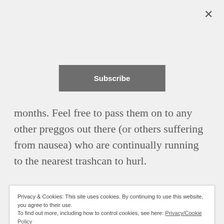[Figure (other): Close (X) button in top right corner of modal overlay]
[Figure (other): Subscribe button — grey rounded rectangle with white bold text]
months. Feel free to pass them on to any other preggos out there (or others suffering from nausea) who are continually running to the nearest trashcan to hurl.
1. Try all the things
Privacy & Cookies: This site uses cookies. By continuing to use this website, you agree to their use.
To find out more, including how to control cookies, see here: Privacy/Cookie Policy
Close and accept
unscented detergent? You can buy it might